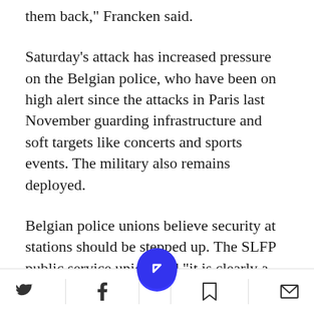them back," Francken said.
Saturday's attack has increased pressure on the Belgian police, who have been on high alert since the attacks in Paris last November guarding infrastructure and soft targets like concerts and sports events. The military also remains deployed.
Belgian police unions believe security at stations should be stepped up. The SLFP public service union said "it is clearly a disappointment for police" to have the national security alert at a higher threat level
Social share bar with Twitter, Facebook, bookmark, and mail icons, and a blue circular navigation button